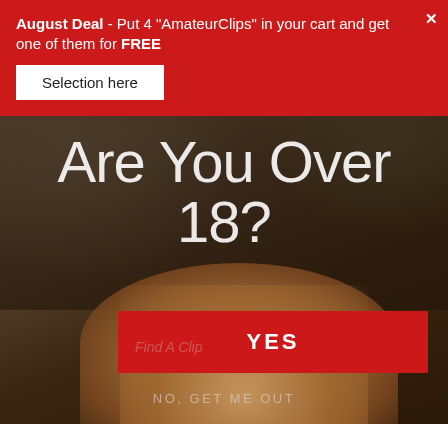August Deal - Put 4 "AmateurClips" in your cart and get one of them for FREE
Selection here
[Figure (screenshot): Age verification modal overlay on a website showing blurred background image with text 'Are You Over 18?' and a red YES button, and 'NO, GET ME OUT' link at the bottom]